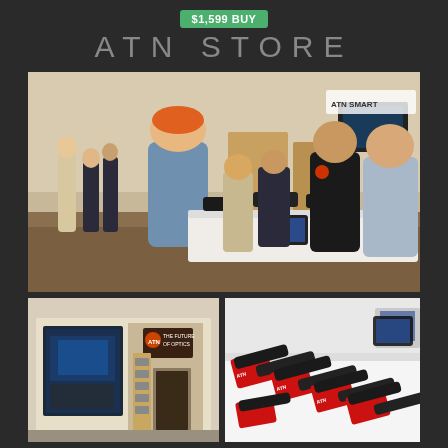$1,599 BUY
ATN STORE
[Figure (photo): Interior of ATN store showing customers and staff at a product display counter with scopes and optics on display, people browsing in the background]
[Figure (photo): Exterior of ATN retail store showing storefront with large glass windows, signage reading 'The Future of Optics', and product displays visible inside]
[Figure (photo): Close-up of ATN product display table showing multiple rifle scopes and optics arranged on red display stands on a white surface, with a tablet device visible]